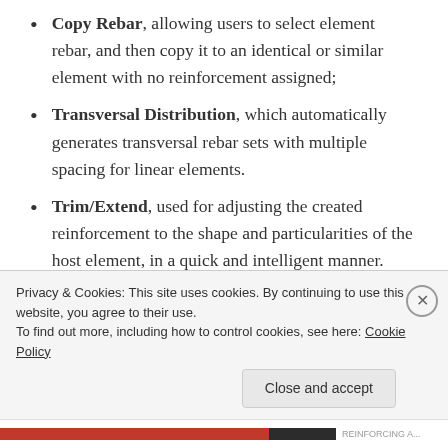Copy Rebar, allowing users to select element rebar, and then copy it to an identical or similar element with no reinforcement assigned;
Transversal Distribution, which automatically generates transversal rebar sets with multiple spacing for linear elements.
Trim/Extend, used for adjusting the created reinforcement to the shape and particularities of the host element, in a quick and intelligent manner.
The use of these tools can greatly...
Privacy & Cookies: This site uses cookies. By continuing to use this website, you agree to their use. To find out more, including how to control cookies, see here: Cookie Policy